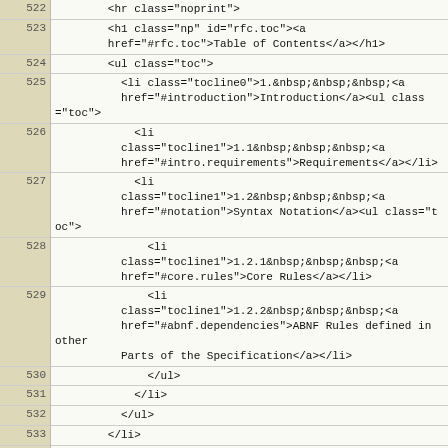| line | code |
| --- | --- |
| 522 |         <hr class="noprint"> |
| 523 |         <h1 class="np" id="rfc.toc"><a
        href="#rfc.toc">Table of Contents</a></h1> |
| 524 |         <ul class="toc"> |
| 525 |           <li class="tocline0">1.&nbsp;&nbsp;&nbsp;<a
          href="#introduction">Introduction</a><ul class="toc"> |
| 526 |             <li
          class="tocline1">1.1&nbsp;&nbsp;&nbsp;<a
          href="#intro.requirements">Requirements</a></li> |
| 527 |             <li
          class="tocline1">1.2&nbsp;&nbsp;&nbsp;<a
          href="#notation">Syntax Notation</a><ul class="toc"> |
| 528 |               <li
          class="tocline1">1.2.1&nbsp;&nbsp;&nbsp;<a
          href="#core.rules">Core Rules</a></li> |
| 529 |               <li
          class="tocline1">1.2.2&nbsp;&nbsp;&nbsp;<a
          href="#abnf.dependencies">ABNF Rules defined in other
          Parts of the Specification</a></li> |
| 530 |               </ul> |
| 531 |             </li> |
| 532 |           </ul> |
| 533 |         </li> |
| 534 |         <li class="tocline0">2.&nbsp;&nbsp;&nbsp;<a
        href="#protocol.parameters">Protocol Parameters</a><ul
        class="toc"> |
| 535 |           <li
          class="tocline1">2.1&nbsp;&nbsp;&nbsp;<a
          href="#character.sets">Character Sets</a><ul
          class="toc"> |
| 536 |             <li
          class="tocline1">2.1.1&nbsp;&nbsp;&nbsp;<a
          href="#missing.charset">Missing Charset</a></li> |
| 537 |               </ul> |
| 538 |             </li> |